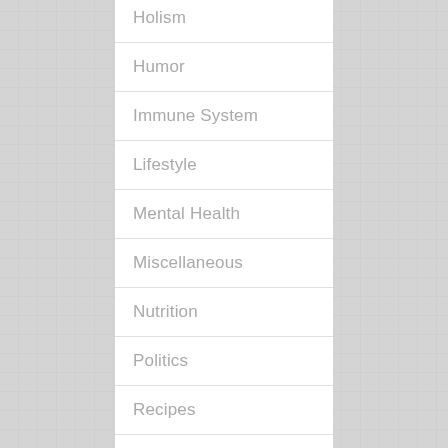Holism
Humor
Immune System
Lifestyle
Mental Health
Miscellaneous
Nutrition
Politics
Recipes
Res…